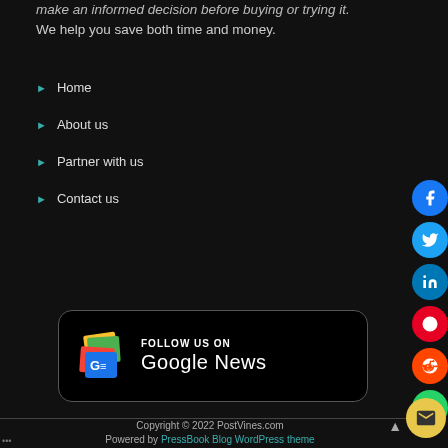make an informed decision before buying or trying it. We help you save both time and money.
Home
About us
Partner with us
Contact us
[Figure (logo): Follow us on Google News banner with Google News icon]
Copyright © 2022 PostVines.com
Powered by PressBook Blog WordPress theme